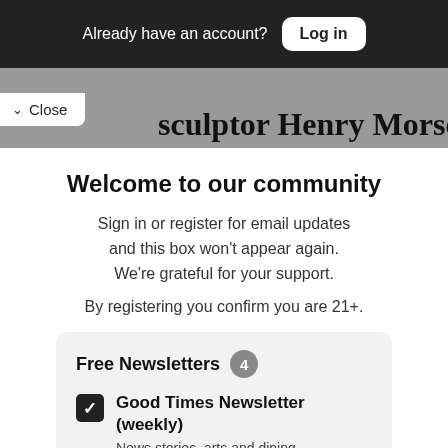Already have an account? Log in
sculptor Henry Morse said
Close
Welcome to our community
Sign in or register for email updates and this box won't appear again. We're grateful for your support.
By registering you confirm you are 21+.
Free Newsletters 4
Good Times Newsletter (weekly)
News stories, arts and dining